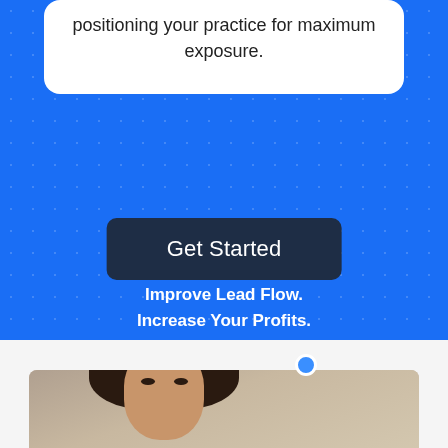positioning your practice for maximum exposure.
[Figure (photo): Blue call-to-action button labeled 'Get Started' on a blue dotted background]
Get Started
Improve Lead Flow.
Increase Your Profits.
[Figure (photo): Woman looking up, photographed from below, with short dark hair, on a neutral background]